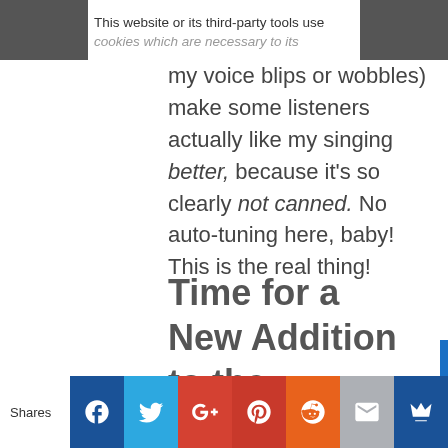This website or its third-party tools use cookies which are necessary to its my voice blips or wobbles) make some listeners actually like my singing better, because it’s so clearly not canned. No auto-tuning here, baby! This is the real thing!
Time for a New Addition to the Catalogue
For two years this home-burned disc